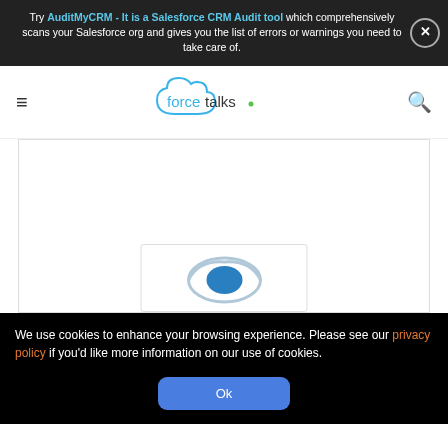Try AuditMyCRM - It is a Salesforce CRM Audit tool which comprehensively scans your Salesforce org and gives you the list of errors or warnings you need to take care of.
[Figure (logo): forcetalks. logo with cloud shape around text, blue cloud outline with green dot after 'forcetalks']
[Figure (screenshot): White main content area with a partially visible card at the bottom showing a blue Salesforce-style cloud logo]
We use cookies to enhance your browsing experience. Please see our privacy policy if you'd like more information on our use of cookies.
Ok